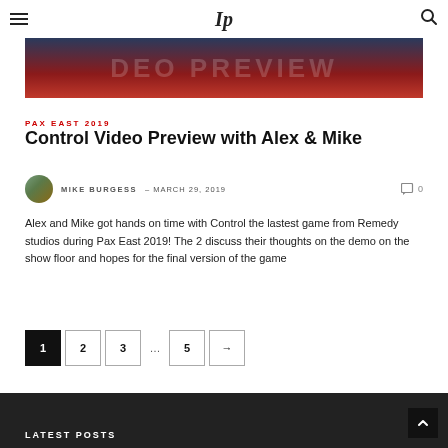IP
[Figure (screenshot): Hero image strip showing partially visible text 'VIDEO PREVIEW' with dark blue and red gradient background]
PAX EAST 2019
Control Video Preview with Alex & Mike
MIKE BURGESS - MARCH 29, 2019  0
Alex and Mike got hands on time with Control the lastest game from Remedy studios during Pax East 2019! The 2 discuss their thoughts on the demo on the show floor and hopes for the final version of the game
1  2  3  ...  5  →
LATEST POSTS